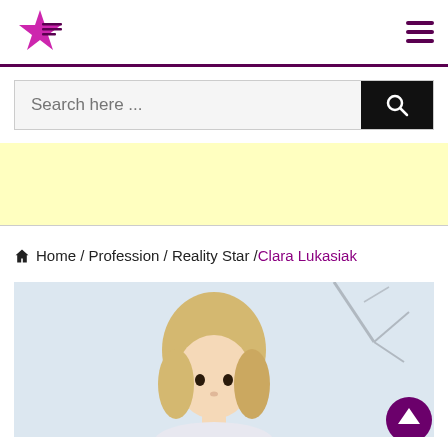[Figure (logo): Star-shaped logo with horizontal lines, purple/pink color scheme]
Search here ...
[Figure (infographic): Yellow advertisement banner placeholder]
Home / Profession / Reality Star / Clara Lukasiak
[Figure (photo): Photo of Clara Lukasiak, young blonde woman, partial view, light background with branches]